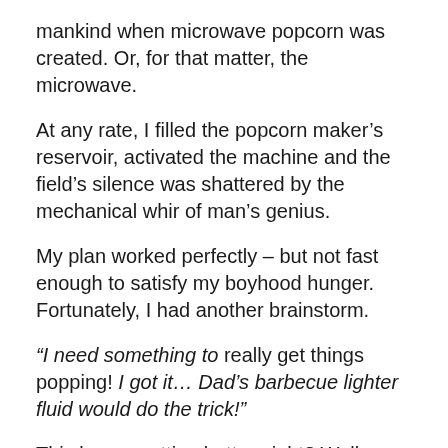mankind when microwave popcorn was created. Or, for that matter, the microwave.
At any rate, I filled the popcorn maker's reservoir, activated the machine and the field's silence was shattered by the mechanical whir of man's genius.
My plan worked perfectly – but not fast enough to satisfy my boyhood hunger. Fortunately, I had another brainstorm.
“I need something to really get things popping! I got it… Dad’s barbecue lighter fluid would do the trick!”
This keeps getting better, right? Well, buckle up, we’ve barely started.
The latest portion of my plan had a wrinkle to be ironed out. I acquired the lighter fluid easily enough, but even